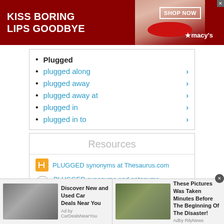[Figure (photo): Macy's advertisement banner with red background, woman's face with red lips, 'KISS BORING LIPS GOODBYE' text, 'SHOP NOW' button, and Macy's star logo]
Plugged
plugged along
plugged away
plugged away at
plugged in
plugged in to
Resources
PLUGGED synonyms at Thesaurus.com
PLUGGED synonyms and antonyms - Merriam-Webster dictionary
[Figure (photo): Bottom advertisement bar with two ads: 'Discover New and Used Car Deals Near You' by CarDealsNearYou, and 'These Pictures Was Taken Minutes Before The Beginning Of The Disaster!' by RilyNews]